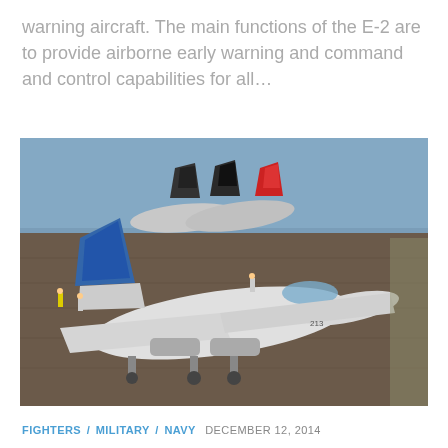warning aircraft. The main functions of the E-2 are to provide airborne early warning and command and control capabilities for all…
[Figure (photo): Aerial photograph of a fighter jet (F-14 Tomcat) on an aircraft carrier deck, with additional aircraft visible in the background and the ocean beyond.]
FIGHTERS / MILITARY / NAVY  DECEMBER 12, 2014